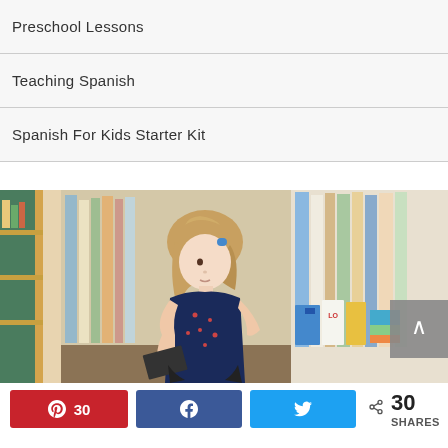Preschool Lessons
Teaching Spanish
Spanish For Kids Starter Kit
[Figure (photo): A young girl with wavy hair wearing a dark blue top, looking down and pulling a book from a colorful library bookshelf filled with children's books.]
< 30 SHARES — Pinterest 30, Facebook share, Twitter share